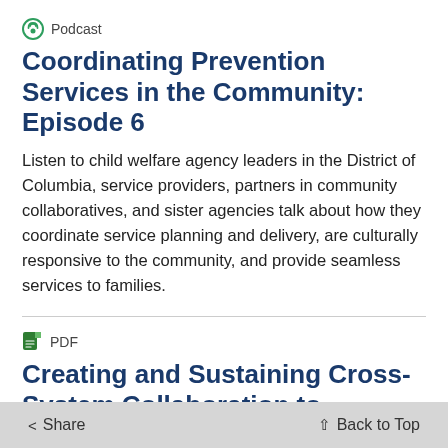Podcast
Coordinating Prevention Services in the Community: Episode 6
Listen to child welfare agency leaders in the District of Columbia, service providers, partners in community collaboratives, and sister agencies talk about how they coordinate service planning and delivery, are culturally responsive to the community, and provide seamless services to families.
PDF
Creating and Sustaining Cross-System Collaboration to Support s in Child Welfare Organizations A